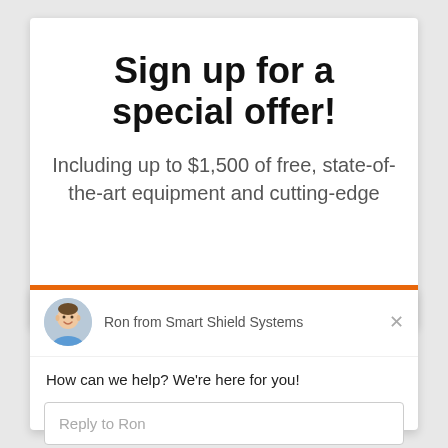Sign up for a special offer!
Including up to $1,500 of free, state-of-the-art equipment and cutting-edge
[Figure (photo): Avatar photo of Ron from Smart Shield Systems — a man in a blue shirt with a friendly expression]
Ron from Smart Shield Systems
How can we help? We're here for you!
Reply to Ron
Chat ⚡ by Drift